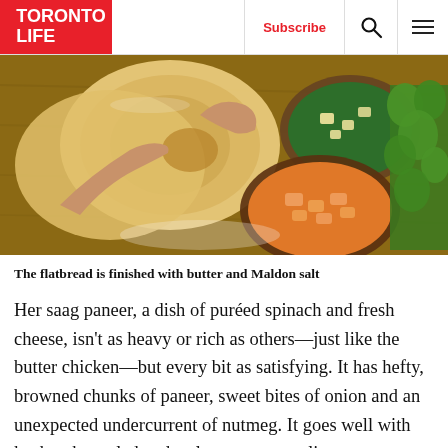TORONTO LIFE | Subscribe
[Figure (photo): Overhead shot of hands tearing flatbread on a wooden cutting board, with bowls of butter chicken and saag paneer, and fresh cilantro visible.]
The flatbread is finished with butter and Maldon salt
Her saag paneer, a dish of puréed spinach and fresh cheese, isn't as heavy or rich as others—just like the butter chicken—but every bit as satisfying. It has hefty, browned chunks of paneer, sweet bites of onion and an unexpected undercurrent of nutmeg. It goes well with kachumber salad, a deeply savoury, cooling combination of cucumber, tomato, red onion and seeded red chilies, finished with lime and salt. Meanwhile, her